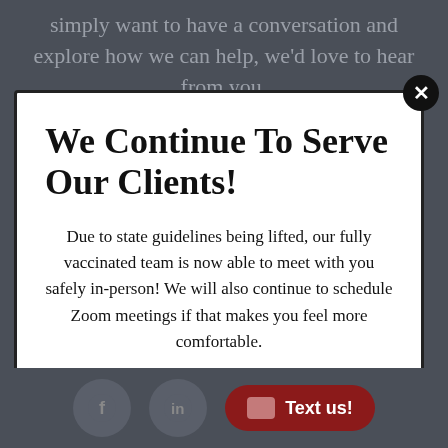simply want to have a conversation and explore how we can help, we'd love to hear from you.
We Continue To Serve Our Clients!
Due to state guidelines being lifted, our fully vaccinated team is now able to meet with you safely in-person! We will also continue to schedule Zoom meetings if that makes you feel more comfortable.

Either way, Legacy Counsellors is here for you!